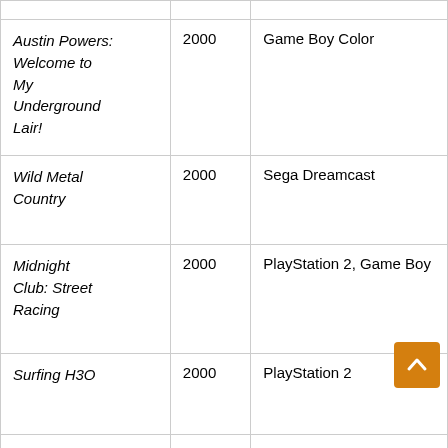| Title | Year | Platform |
| --- | --- | --- |
| Austin Powers: Welcome to My Underground Lair! | 2000 | Game Boy Color |
| Wild Metal Country | 2000 | Sega Dreamcast |
| Midnight Club: Street Racing | 2000 | PlayStation 2, Game Boy |
| Surfing H3O | 2000 | PlayStation 2 |